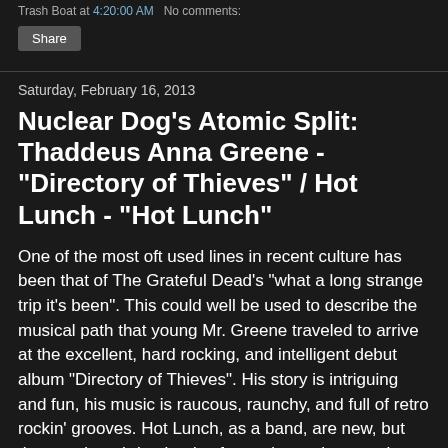Trash Boat at 4:20:00 AM   No comments:
Share
Saturday, February 16, 2013
Nuclear Dog's Atomic Split: Thaddeus Anna Greene - "Directory of Thieves" / Hot Lunch - "Hot Lunch"
One of the most oft used lines in recent culture has been that of The Grateful Dead's "what a long strange trip it's been". This could well be used to describe the musical path that young Mr. Greene traveled to arrive at the excellent, hard rocking, and intelligent debut album "Directory of Thieves". His story is intriguing and fun, his music is raucous, raunchy, and full of retro rockin' grooves. Hot Lunch, as a band, are new, but the members bring loads of experience that matches their musical prowess, allowing them the opportunity to create some granite blasting, face melting, one of a kind brand of music. The trip for them may or may not have been strange, but it surely has been long,